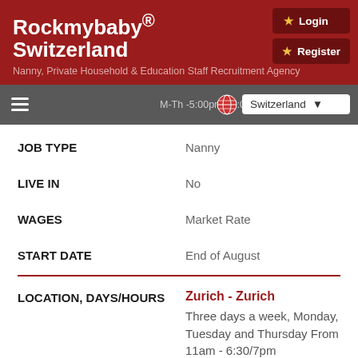Rockmybaby® Switzerland
Nanny, Private Household & Education Staff Recruitment Agency
M-Th -5:00pm - 7:00/8pm
Switzerland
| Field | Value |
| --- | --- |
| JOB TYPE | Nanny |
| LIVE IN | No |
| WAGES | Market Rate |
| START DATE | End of August |
LOCATION, DAYS/HOURS
Zurich - Zurich
Three days a week, Monday, Tuesday and Thursday From 11am - 6:30/7pm